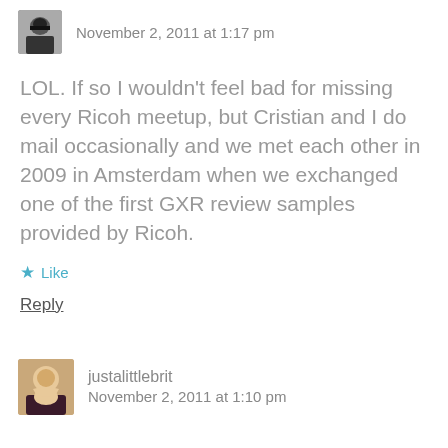November 2, 2011 at 1:17 pm
LOL. If so I wouldn't feel bad for missing every Ricoh meetup, but Cristian and I do mail occasionally and we met each other in 2009 in Amsterdam when we exchanged one of the first GXR review samples provided by Ricoh.
Like
Reply
justalittlebrit
November 2, 2011 at 1:10 pm